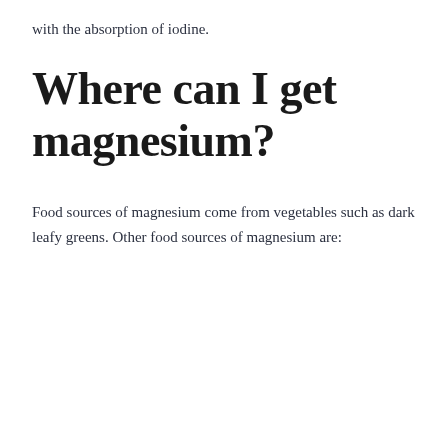with the absorption of iodine.
Where can I get magnesium?
Food sources of magnesium come from vegetables such as dark leafy greens. Other food sources of magnesium are: